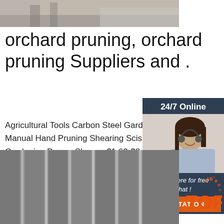[Figure (photo): Top photo showing gravel/stone ground with wood, partially cropped]
orchard pruning, orchard pruning Suppliers and .
Agricultural Tools Carbon Steel Garden G... Manual Hand Pruning Shearing Scissors... Gardening Pruner Shears. $1.60-$2.00 P... 5000 Pieces (Min. Order) CN Tangshan ... Hardware Tools Manufacturing Co., Ltd.
[Figure (photo): Sidebar with 24/7 Online chat agent photo, Click here for free chat!, and QUOTATION button]
[Figure (photo): Get Price green button]
[Figure (photo): Bottom image of metal blades/sheets in grayscale with TOP logo badge]